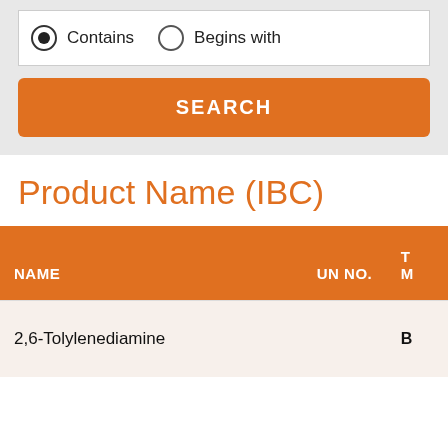[Figure (screenshot): Search form with radio buttons: 'Contains' (selected) and 'Begins with', and an orange SEARCH button below]
Product Name (IBC)
| NAME | UN NO. | T M |
| --- | --- | --- |
| 2,6-Tolylenediamine |  | B |